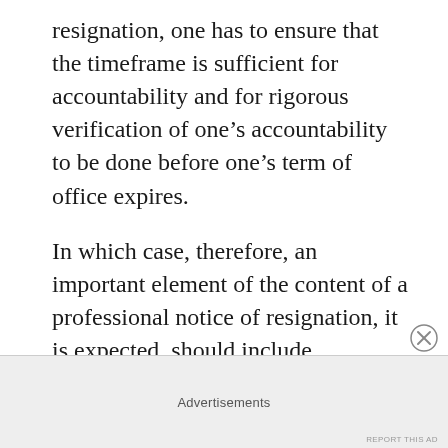resignation, one has to ensure that the timeframe is sufficient for accountability and for rigorous verification of one’s accountability to be done before one’s term of office expires.
In which case, therefore, an important element of the content of a professional notice of resignation, it is expected, should include suggestions of how one intends to ensure that one will transparently do accountabilities and how one’s accountability may be transparently and independently verified and audited by the appointing authority.
Advertisements